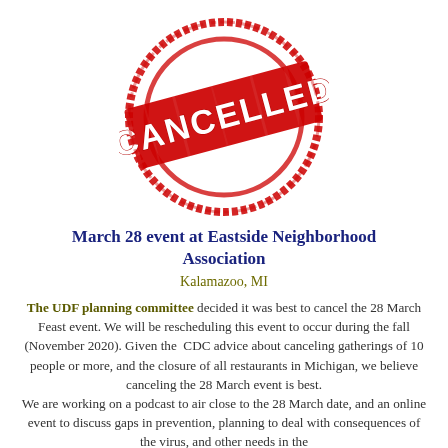[Figure (illustration): Red CANCELLED rubber stamp graphic with circular border and diagonal banner text reading CANCELLED in bold red letters]
March 28 event at Eastside Neighborhood Association
Kalamazoo, MI
The UDF planning committee decided it was best to cancel the 28 March Feast event. We will be rescheduling this event to occur during the fall (November 2020). Given the CDC advice about canceling gatherings of 10 people or more, and the closure of all restaurants in Michigan, we believe canceling the 28 March event is best. We are working on a podcast to air close to the 28 March date, and an online event to discuss gaps in prevention, planning to deal with consequences of the virus, and other needs in the